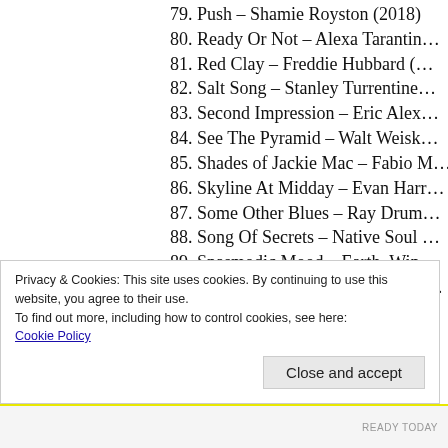79. Push – Shamie Royston (2018)
80. Ready Or Not – Alexa Tarantin…
81. Red Clay – Freddie Hubbard (…
82. Salt Song – Stanley Turrentine…
83. Second Impression – Eric Alex…
84. See The Pyramid – Walt Weisk…
85. Shades of Jackie Mac – Fabio M…
86. Skyline At Midday – Evan Harr…
87. Some Other Blues – Ray Drum…
88. Song Of Secrets – Native Soul …
89. Spasmodic Mood – Earth, Win…
90. Steps Of A Righteous Man – Al…
Privacy & Cookies: This site uses cookies. By continuing to use this website, you agree to their use. To find out more, including how to control cookies, see here: Cookie Policy
Close and accept